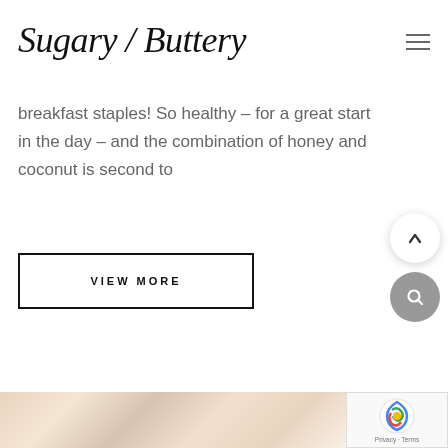Sugary / Buttery
breakfast staples! So healthy – for a great start in the day – and the combination of honey and coconut is second to
VIEW MORE
[Figure (screenshot): reCAPTCHA widget with Privacy · Terms label]
[Figure (photo): Partial food photo at bottom of page, appears to show a dessert or pastry]